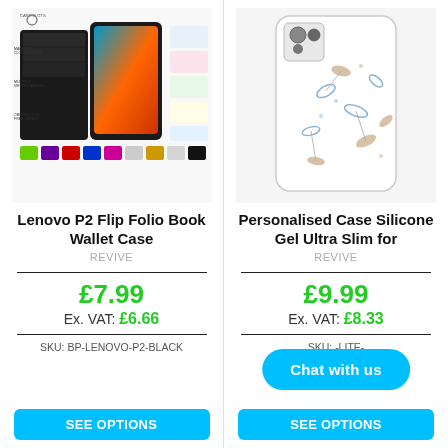[Figure (photo): Lenovo P2 Flip Folio Book Wallet Case product image showing open wallet with card slots, magnetic closing clasp, multiple viewing angles, obstruction free viewing labels, and color swatches]
Lenovo P2 Flip Folio Book Wallet Case
REVIVE
£7.99
Ex. VAT: £6.66
SKU: BP-LENOVO-P2-BLACK
SEE OPTIONS
[Figure (photo): Personalised Case Silicone Gel Ultra Slim phone case with leaf pattern design]
Personalised Case Silicone Gel Ultra Slim for
REVIVE
£9.99
Ex. VAT: £8.33
SKU: -LITE-
SEE OPTIONS
Chat with us